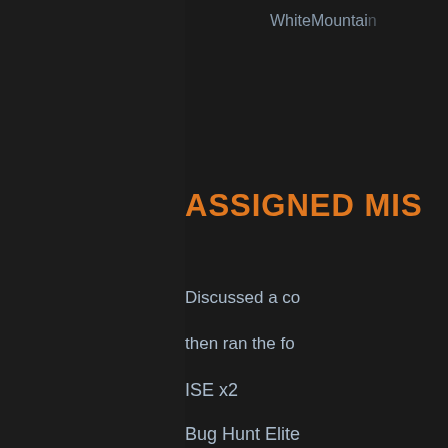WhiteMountain
ASSIGNED MIS
Discussed a co
then ran the fo
ISE x2
Bug Hunt Elite
Borg Disconne
Iuppiter Iratus
AFTER ACTION
We started off
We then discus